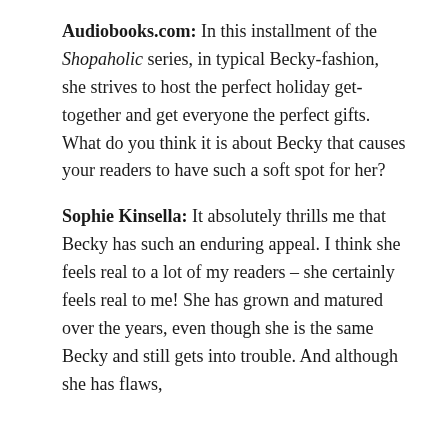Audiobooks.com: In this installment of the Shopaholic series, in typical Becky-fashion, she strives to host the perfect holiday get-together and get everyone the perfect gifts. What do you think it is about Becky that causes your readers to have such a soft spot for her?
Sophie Kinsella: It absolutely thrills me that Becky has such an enduring appeal. I think she feels real to a lot of my readers – she certainly feels real to me! She has grown and matured over the years, even though she is the same Becky and still gets into trouble. And although she has flaws,